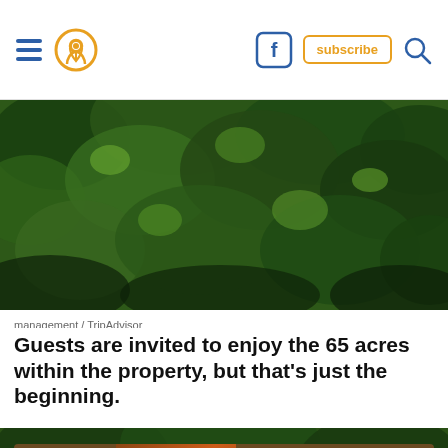hamburger menu | location icon | f | subscribe | search
[Figure (photo): Aerial view of dense green forest canopy with sunlight filtering through trees]
management / TripAdvisor
Guests are invited to enjoy the 65 acres within the property, but that's just the beginning.
[Figure (photo): Dense green forest canopy viewed from below, trees with lush foliage]
[Figure (infographic): Advertisement: breef. - Get Started, Free - The easiest way to find an agency.]